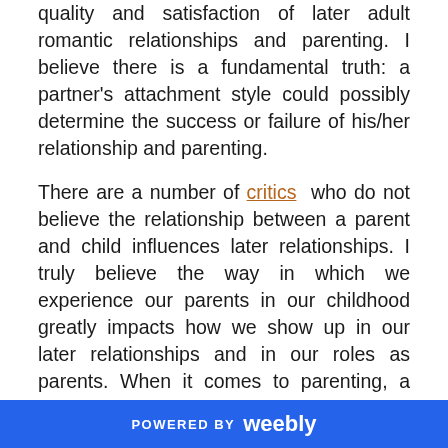quality and satisfaction of later adult romantic relationships and parenting. I believe there is a fundamental truth: a partner's attachment style could possibly determine the success or failure of his/her relationship and parenting.
There are a number of critics who do not believe the relationship between a parent and child influences later relationships. I truly believe the way in which we experience our parents in our childhood greatly impacts how we show up in our later relationships and in our roles as parents. When it comes to parenting, a caregiver's attentiveness, emotional availability, and responsiveness helps to shape a child's future relationship to
POWERED BY weebly